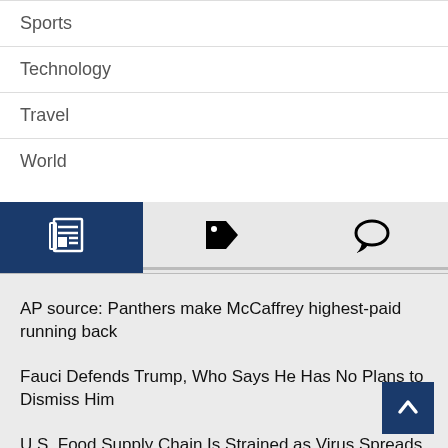Sports
Technology
Travel
World
[Figure (screenshot): Navigation tab bar with newspaper icon (active, dark blue), tag icon, and chat icon on light grey background]
AP source: Panthers make McCaffrey highest-paid running back
Fauci Defends Trump, Who Says He Has No Plans to Dismiss Him
U.S. Food Supply Chain Is Strained as Virus Spreads
How To Answer Your Kid's Coronavirus Question, 'When Will This Be Over?'